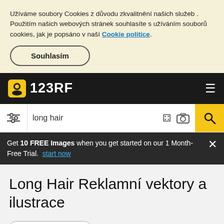Užíváme soubory Cookies z důvodu zkvalitnění našich služeb . Použitím našich webových stránek souhlasíte s užíváním souborů cookies, jak je popsáno v naší Cookie politice.
Souhlasím
123RF
long hair
Get 10 FREE Images when you get started on our 1 Month-Free Trial. start now
Long Hair Reklamní vektory a ilustrace